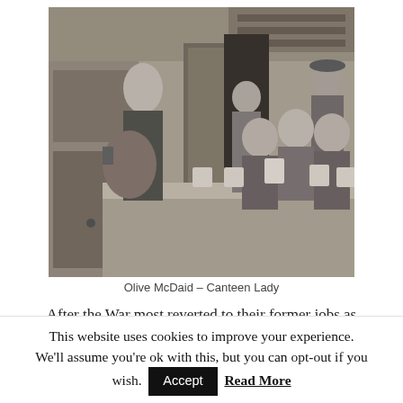[Figure (photo): Black and white photograph of Olive McDaid, a canteen lady, pouring tea from a large pot for a group of young men seated at a counter. An older man stands in the background.]
Olive McDaid – Canteen Lady
After the War most reverted to their former jobs as
This website uses cookies to improve your experience. We'll assume you're ok with this, but you can opt-out if you wish.
Accept
Read More